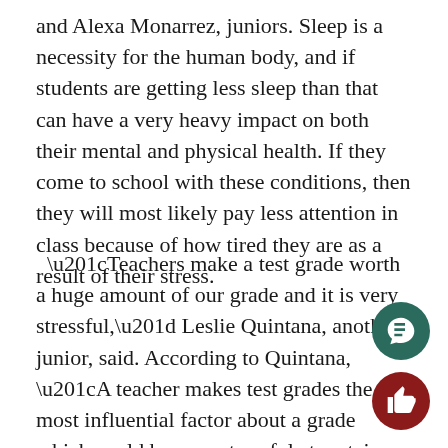and Alexa Monarrez, juniors. Sleep is a necessity for the human body, and if students are getting less sleep than that can have a very heavy impact on both their mental and physical health. If they come to school with these conditions, then they will most likely pay less attention in class because of how tired they are as a result of their stress.
“Teachers make a test grade worth a huge amount of our grade and it is very stressful,” Leslie Quintana, another junior, said. According to Quintana, “A teacher makes test grades the most influential factor about a grade which could be very stressful at certain times.” No matter how hard one tries or studies, one simple mistake can cost them a big chunk of their grade if they mess up on their tests. This could be a very stressful thing for a student if they have a test coming up in the near future.